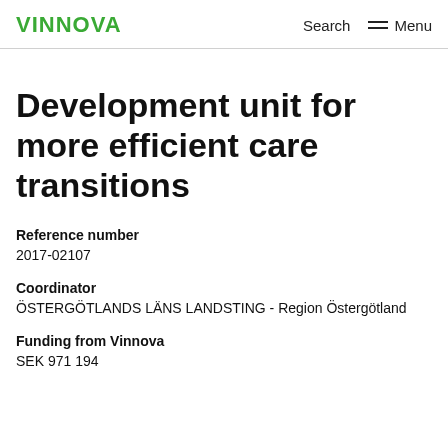VINNOVA  Search  Menu
Development unit for more efficient care transitions
Reference number
2017-02107
Coordinator
ÖSTERGÖTLANDS LÄNS LANDSTING - Region Östergötland
Funding from Vinnova
SEK 971 194